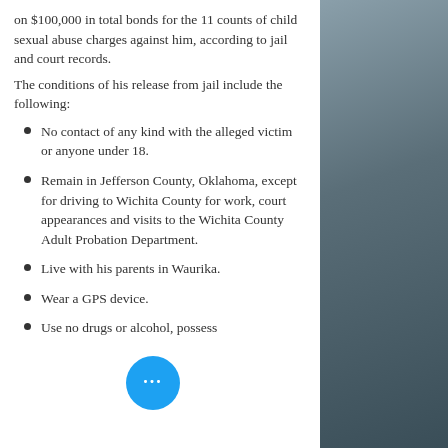on $100,000 in total bonds for the 11 counts of child sexual abuse charges against him, according to jail and court records.
The conditions of his release from jail include the following:
No contact of any kind with the alleged victim or anyone under 18.
Remain in Jefferson County, Oklahoma, except for driving to Wichita County for work, court appearances and visits to the Wichita County Adult Probation Department.
Live with his parents in Waurika.
Wear a GPS device.
Use no drugs or alcohol, possess...